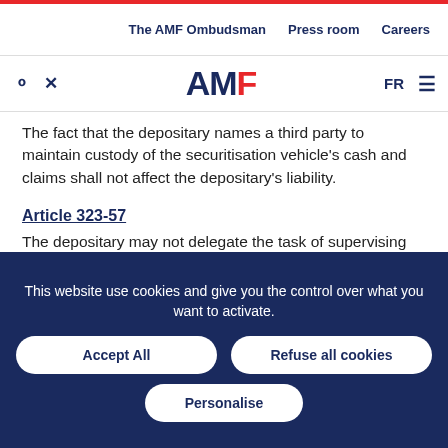The AMF Ombudsman  Press room  Careers
[Figure (logo): AMF logo with search and tool icons, FR language selector and menu icon]
The fact that the depositary names a third party to maintain custody of the securitisation vehicle's cash and claims shall not affect the depositary's liability.
Article 323-57
The depositary may not delegate the task of supervising the legal and regulatory compliance of decisions made by the securitisation vehicle.
This website use cookies and give you the control over what you want to activate.
Accept All  Refuse all cookies  Personalise